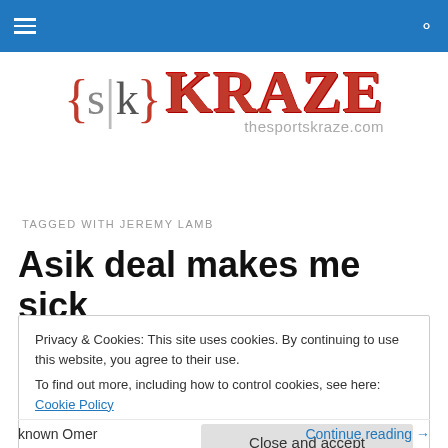Navigation bar with hamburger menu and search icon
[Figure (logo): Sports Kraze logo: {s|k} KRAZE thesportskraze.com]
TAGGED WITH JEREMY LAMB
Asik deal makes me sick
Privacy & Cookies: This site uses cookies. By continuing to use this website, you agree to their use. To find out more, including how to control cookies, see here: Cookie Policy
Close and accept
known Omer
Continue reading →